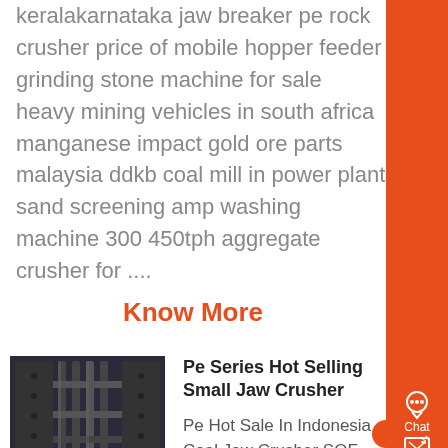keralakarnataka jaw breaker pe rock crusher price of mobile hopper feeder grinding stone machine for sale heavy mining vehicles in south africa manganese impact gold ore parts malaysia ddkb coal mill in power plant sand screening amp washing machine 300 450tph aggregate crusher for ....
Know More
[Figure (photo): Photo of a jaw crusher machine, industrial grey metal equipment]
Pe Series Hot Selling Small Jaw Crusher
Pe Hot Sale In Indonesia Coal Jaw Crusher SOF Mining machine Main Equipments PE